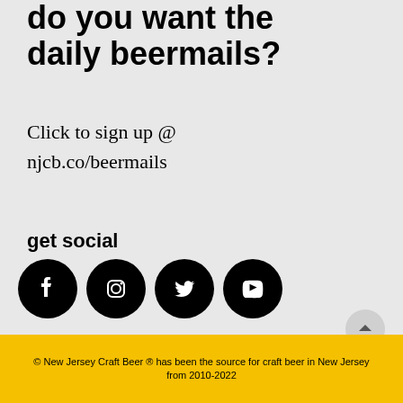do you want the daily beermails?
Click to sign up @ njcb.co/beermails
get social
[Figure (infographic): Four social media icons (Facebook, Instagram, Twitter, YouTube) as white icons on black circles]
© New Jersey Craft Beer ® has been the source for craft beer in New Jersey from 2010-2022